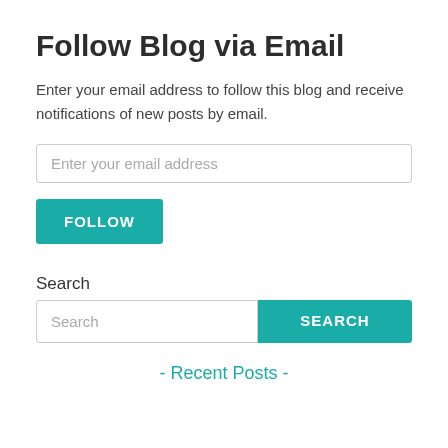Follow Blog via Email
Enter your email address to follow this blog and receive notifications of new posts by email.
[Figure (other): Email input field with placeholder text 'Enter your email address']
[Figure (other): Teal FOLLOW button]
Search
[Figure (other): Search input field with placeholder 'Search' and teal SEARCH button]
- Recent Posts -